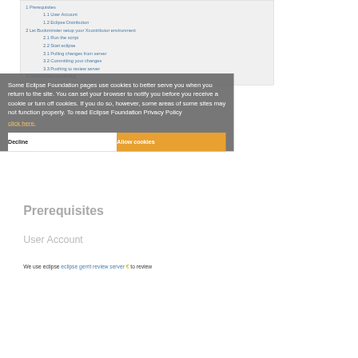1 Prerequisites
1.1 User Account
1.2 Eclipse Distribution
2 Let Buckminster setup your Xcontributor environment
2.1 Run the script
2.2 Start eclipse
3.1 Pulling changes from server
3.2 Committing your changes
3.3 Pushing to review server
4 Contribution monitoring
Some Eclipse Foundation pages use cookies to better serve you when you return to the site. You can set your browser to notify you before you receive a cookie or turn off cookies. If you do so, however, some areas of some sites may not function properly. To read Eclipse Foundation Privacy Policy
click here.
Decline
Allow cookies
Prerequisites
User Account
We use eclipse eclipse gerrit review server to review